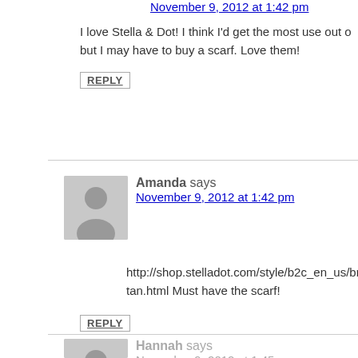November 9, 2012 at 1:42 pm
I love Stella & Dot! I think I'd get the most use out of [something] but I may have to buy a scarf. Love them!
REPLY
Amanda says
November 9, 2012 at 1:42 pm
http://shop.stelladot.com/style/b2c_en_us/bryanton.html Must have the scarf!
REPLY
Hannah says
November 9, 2012 at 1:45 pm